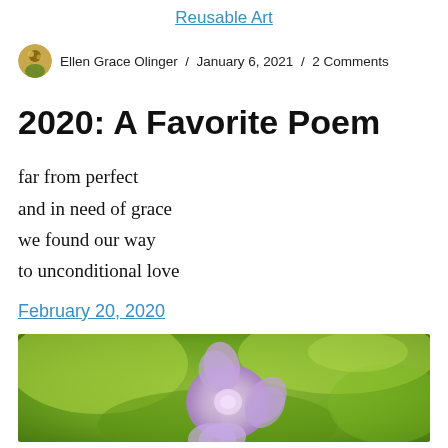Reusable Art
Ellen Grace Olinger / January 6, 2021 / 2 Comments
2020: A Favorite Poem
far from perfect
and in need of grace
we found our way
to unconditional love
February 20, 2020
[Figure (photo): Close-up photo of a light purple/lavender flower against a blurred green background]